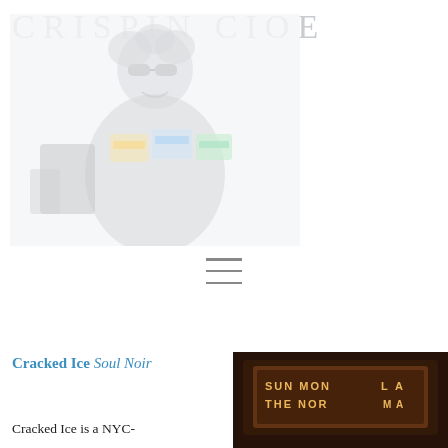CRISPIN CIOE
[Figure (photo): Black and white faded photo of a person wearing sunglasses and holding several colorful cassette tapes or similar items, with a dark background]
[Figure (other): Hamburger menu icon with three horizontal lines]
Cracked Ice Soul Noir
Cracked Ice is a NYC-
[Figure (photo): Dark photo showing a marquee sign lit up with text including SUN, MON, THE, NOR visible]